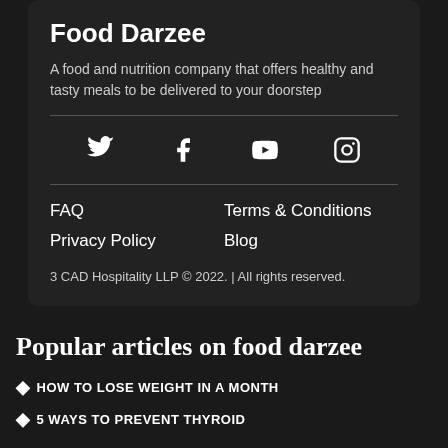Food Darzee
A food and nutrition company that offers healthy and tasty meals to be delivered to your doorstep
[Figure (infographic): Social media icons: Twitter, Facebook, YouTube, Instagram]
FAQ
Terms & Conditions
Privacy Policy
Blog
3 CAD Hospitality LLP © 2022. | All rights reserved.
Popular articles on food darzee
HOW TO LOSE WEIGHT IN A MONTH
5 WAYS TO PREVENT THYROID